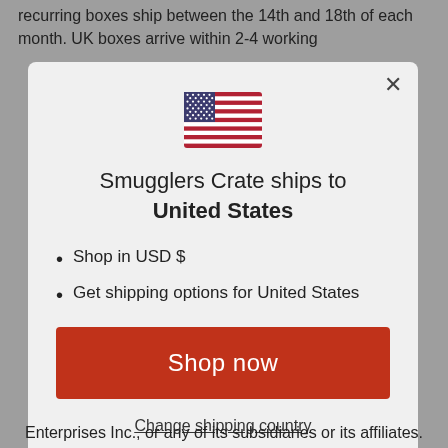recurring boxes ship between the 14th and 18th of each month. UK boxes arrive within 2-4 working
[Figure (illustration): US flag emoji/icon]
Smugglers Crate ships to United States
Shop in USD $
Get shipping options for United States
Shop now
Change shipping country
Enterprises Inc., or any of its subsidiaries or its affiliates.